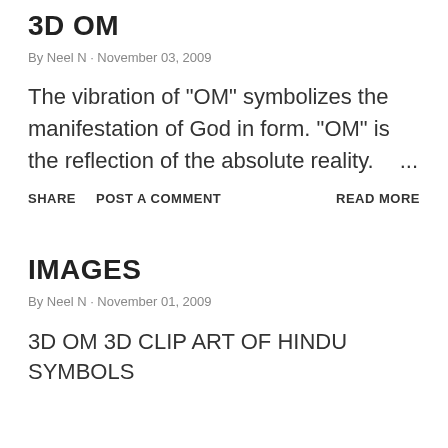3D OM
By Neel N · November 03, 2009
The vibration of "OM" symbolizes the manifestation of God in form. "OM" is the reflection of the absolute reality. ...
SHARE   POST A COMMENT   READ MORE
IMAGES
By Neel N · November 01, 2009
3D OM 3D CLIP ART OF HINDU SYMBOLS